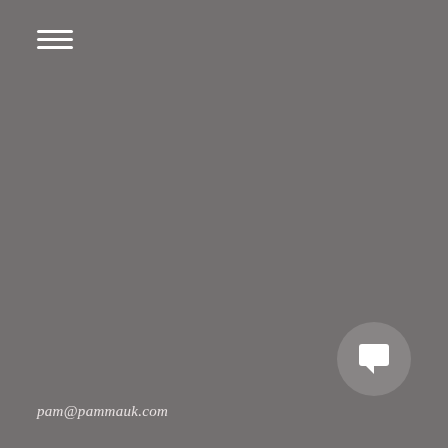[Figure (other): Hamburger menu icon — three horizontal white lines stacked vertically, positioned top-left]
[Figure (other): Circular chat/message button icon — grey circle with white speech bubble icon, positioned bottom-right]
pam@pammauk.com